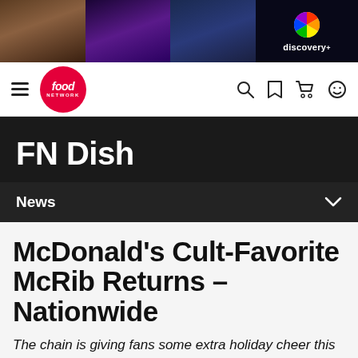[Figure (screenshot): Discovery+ advertisement banner with three person photos and Discovery+ logo on dark background]
[Figure (logo): Food Network website navigation bar with hamburger menu, Food Network red circle logo, search, bookmark, cart, and profile icons]
FN Dish
News
McDonald's Cult-Favorite McRib Returns – Nationwide
The chain is giving fans some extra holiday cheer this